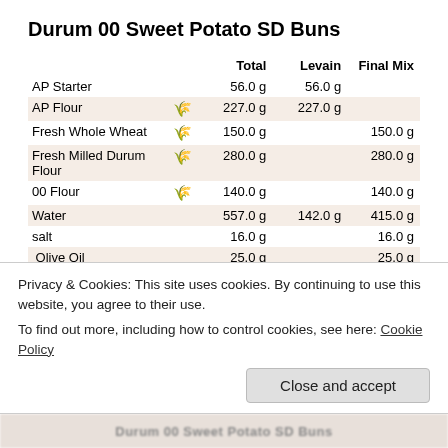Durum 00 Sweet Potato SD Buns
|  |  | Total | Levain | Final Mix |
| --- | --- | --- | --- | --- |
| AP Starter |  | 56.0 g | 56.0 g |  |
| AP Flour | 🌾 | 227.0 g | 227.0 g |  |
| Fresh Whole Wheat | 🌾 | 150.0 g |  | 150.0 g |
| Fresh Milled Durum Flour | 🌾 | 280.0 g |  | 280.0 g |
| 00 Flour | 🌾 | 140.0 g |  | 140.0 g |
| Water |  | 557.0 g | 142.0 g | 415.0 g |
| salt |  | 16.0 g |  | 16.0 g |
| Olive Oil |  | 25.0 g |  | 25.0 g |
| Roasted Sweet Potato |  | 125.0 g |  | 125.0 g |
| Levain |  |  |  | 425.0 g |
Privacy & Cookies: This site uses cookies. By continuing to use this website, you agree to their use.
To find out more, including how to control cookies, see here: Cookie Policy
Durum 00 Sweet Potato SD Buns